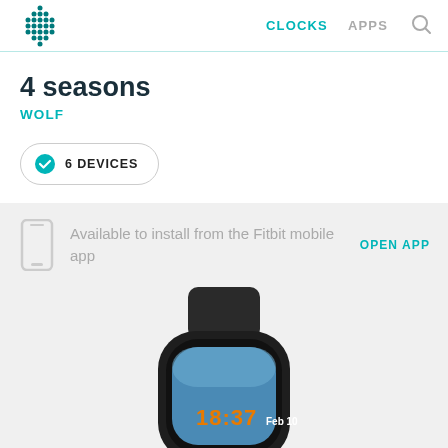[Figure (logo): Fitbit logo - teal dot grid pattern forming a diamond/hexagon shape]
CLOCKS   APPS
4 seasons
WOLF
✓ 6 DEVICES
Available to install from the Fitbit mobile app
OPEN APP
[Figure (photo): A Fitbit smartwatch with dark band showing a watchface displaying 18:37 and Feb 10 with a nature/sky background]